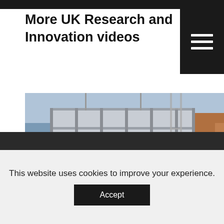More UK Research and Innovation videos
[Figure (photo): Construction site showing a multi-storey building under construction with scaffolding, steel frame structure, surrounded by urban buildings]
The legacy of the Transforming Construction Challenge
This website uses cookies to improve your experience.